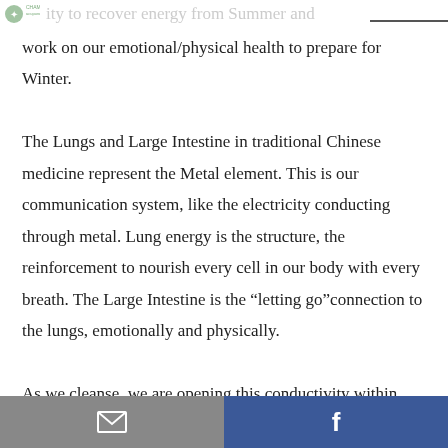…opportunity to recover energy from Summer and
work on our emotional/physical health to prepare for Winter.

The Lungs and Large Intestine in traditional Chinese medicine represent the Metal element. This is our communication system, like the electricity conducting through metal. Lung energy is the structure, the reinforcement to nourish every cell in our body with every breath. The Large Intestine is the “letting go”connection to the lungs, emotionally and physically.

As we cleanse, we are opening this conductivity within…
Email | Facebook